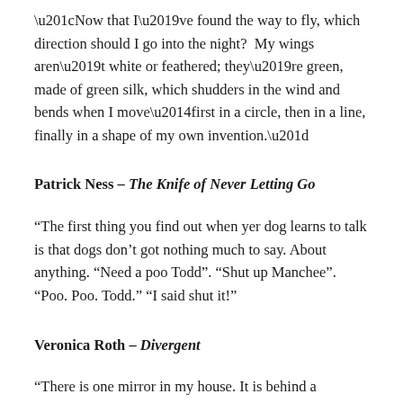“Now that I’ve found the way to fly, which direction should I go into the night?  My wings aren’t white or feathered; they’re green, made of green silk, which shudders in the wind and bends when I move—first in a circle, then in a line, finally in a shape of my own invention.”
Patrick Ness – The Knife of Never Letting Go
“The first thing you find out when yer dog learns to talk is that dogs don’t got nothing much to say. About anything. “Need a poo Todd”. “Shut up Manchee”. “Poo. Poo. Todd.” “I said shut it!”
Veronica Roth – Divergent
“There is one mirror in my house. It is behind a